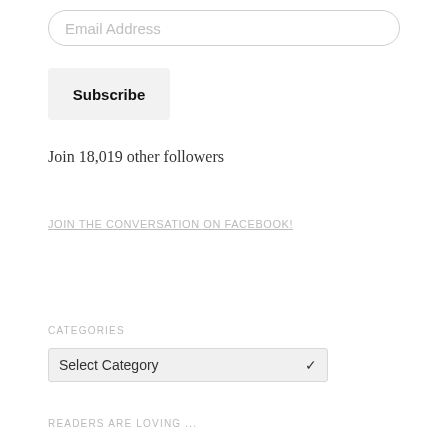Email Address
Subscribe
Join 18,019 other followers
JOIN THE CONVERSATION ON FACEBOOK!
CATEGORIES
Select Category
READERS ARE LOVING ...